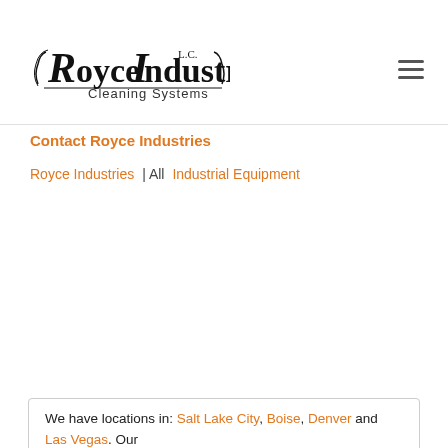[Figure (logo): Royce Industries L.C. Cleaning Systems logo — black ornate lettering with decorative flourishes]
are in the western United States give us a call.
Touch Free
Friction
Hybrid
Contact Royce Industries
Royce Industries | All Industrial Equipment
We have locations in: Salt Lake City, Boise, Denver and Las Vegas. Our